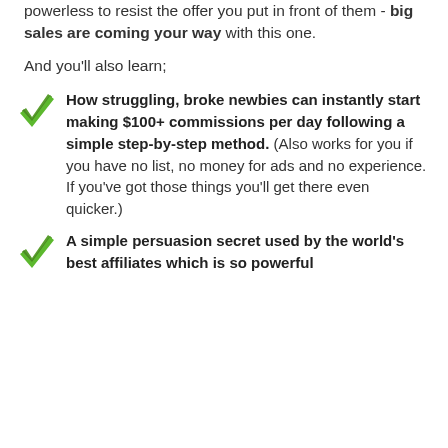powerless to resist the offer you put in front of them - big sales are coming your way with this one.
And you'll also learn;
How struggling, broke newbies can instantly start making $100+ commissions per day following a simple step-by-step method. (Also works for you if you have no list, no money for ads and no experience. If you've got those things you'll get there even quicker.)
A simple persuasion secret used by the world's best affiliates which is so powerful